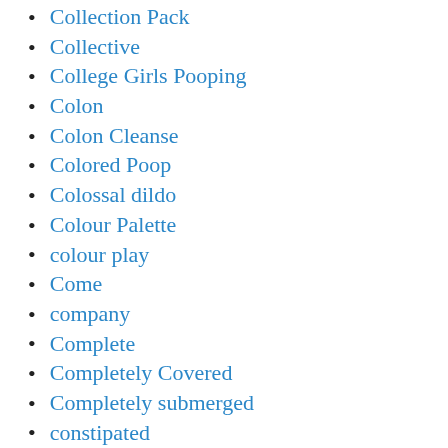Collection Pack
Collective
College Girls Pooping
Colon
Colon Cleanse
Colored Poop
Colossal dildo
Colour Palette
colour play
Come
company
Complete
Completely Covered
Completely submerged
constipated
constipated schoolgirls